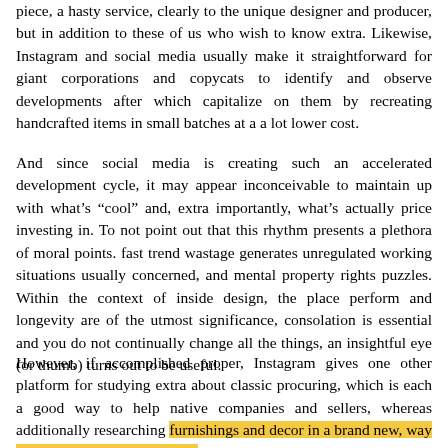piece, a hasty service, clearly to the unique designer and producer, but in addition to these of us who wish to know extra. Likewise, Instagram and social media usually make it straightforward for giant corporations and copycats to identify and observe developments after which capitalize on them by recreating handcrafted items in small batches at a a lot lower cost.
And since social media is creating such an accelerated development cycle, it may appear inconceivable to maintain up with what's “cool” and, extra importantly, what’s actually price investing in. To not point out that this rhythm presents a plethora of moral points. fast trend wastage generates unregulated working situations usually concerned, and mental property rights puzzles. Within the context of inside design, the place perform and longevity are of the utmost significance, consolation is essential and you do not continually change all the things, an insightful eye (or thumb) turns out to be useful.
However, if accomplished proper, Instagram gives one other platform for studying extra about classic procuring, which is each a good way to help native companies and sellers, whereas additionally researching furnishings and decor in a brand new, way more sustainable product and